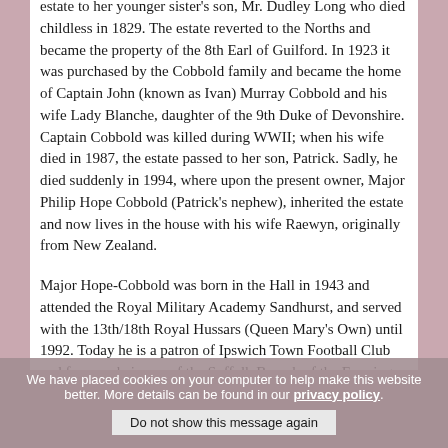estate to her younger sister's son, Mr. Dudley Long who died childless in 1829. The estate reverted to the Norths and became the property of the 8th Earl of Guilford. In 1923 it was purchased by the Cobbold family and became the home of Captain John (known as Ivan) Murray Cobbold and his wife Lady Blanche, daughter of the 9th Duke of Devonshire. Captain Cobbold was killed during WWII; when his wife died in 1987, the estate passed to her son, Patrick. Sadly, he died suddenly in 1994, where upon the present owner, Major Philip Hope Cobbold (Patrick's nephew), inherited the estate and now lives in the house with his wife Raewyn, originally from New Zealand.
Major Hope-Cobbold was born in the Hall in 1943 and attended the Royal Military Academy Sandhurst, and served with the 13th/18th Royal Hussars (Queen Mary's Own) until 1992. Today he is a patron of Ipswich Town Football Club and former chairman of the Suffolk Branch of the Farming and Wildlife Association. He was also President of the Royal British Legion for Suffolk. He was High Sheriff of Suffolk for 2005/6. For the Cobbold family visit www.cobboldfbt.com
We have placed cookies on your computer to help make this website better. More details can be found in our privacy policy.
Do not show this message again